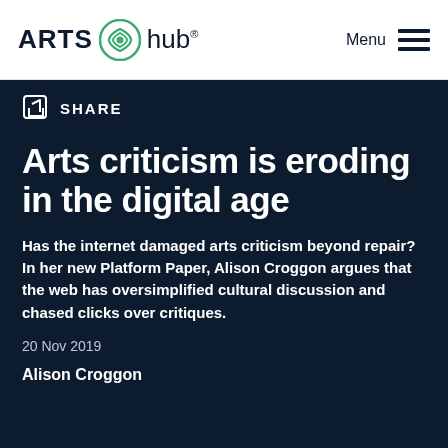ARTS hub® Menu
SHARE
Arts criticism is eroding in the digital age
Has the internet damaged arts criticism beyond repair? In her new Platform Paper, Alison Croggon argues that the web has oversimplified cultural discussion and chased clicks over critiques.
20 Nov 2019
Alison Croggon